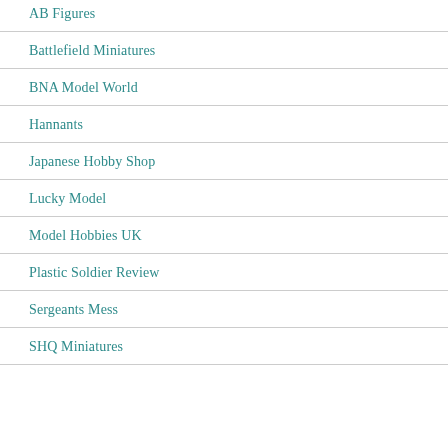AB Figures
Battlefield Miniatures
BNA Model World
Hannants
Japanese Hobby Shop
Lucky Model
Model Hobbies UK
Plastic Soldier Review
Sergeants Mess
SHQ Miniatures